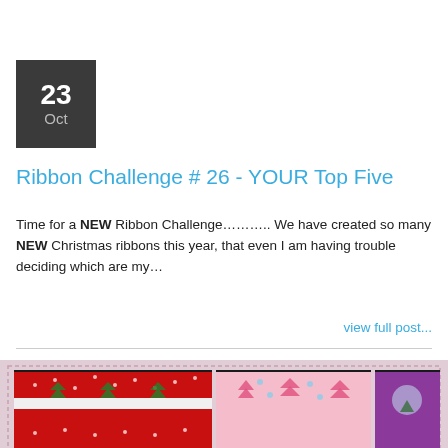23 Oct
Ribbon Challenge # 26 - YOUR Top Five
Time for a NEW Ribbon Challenge……….. We have created so many NEW Christmas ribbons this year, that even I am having trouble deciding which are my…
view full post...
[Figure (photo): Photo collage of Christmas ribbons on black frames against a pink dashed-border background. Left image shows red ribbon with white Christmas tree pattern and white stripe. Center shows pink ribbon with pink Christmas tree pattern. Right shows purple ribbon with Christmas scene.]